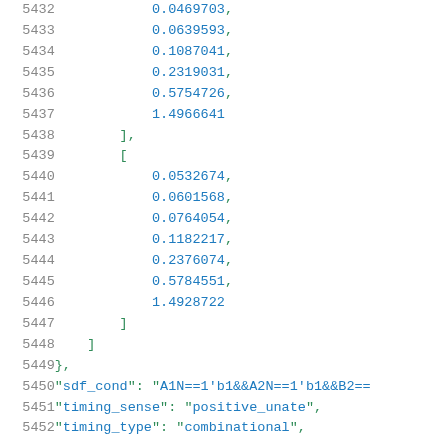Code listing lines 5432-5452 showing numeric array data and JSON key-value pairs for sdf_cond, timing_sense, timing_type